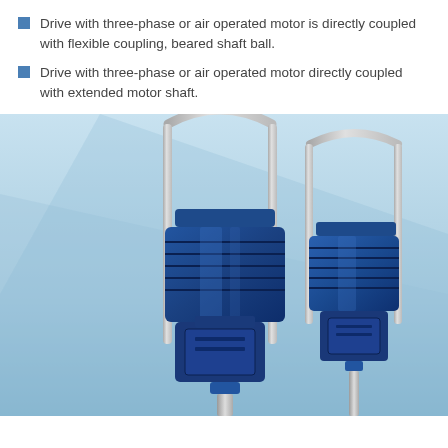Drive with three-phase or air operated motor is directly coupled with flexible coupling, beared shaft ball.
Drive with three-phase or air operated motor directly coupled with extended motor shaft.
[Figure (photo): Photograph of two blue industrial vertical pump motors with silver curved handle frames, shown against a light blue background. Left pump is larger than the right pump.]